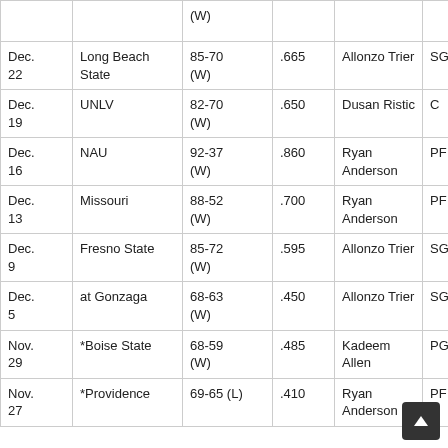| Date | Opponent | Score | Stat | Player | Pos |
| --- | --- | --- | --- | --- | --- |
|  |  | (W) |  |  |  |
| Dec. 22 | Long Beach State | 85-70 (W) | .665 | Allonzo Trier | SG |
| Dec. 19 | UNLV | 82-70 (W) | .650 | Dusan Ristic | C |
| Dec. 16 | NAU | 92-37 (W) | .860 | Ryan Anderson | PF |
| Dec. 13 | Missouri | 88-52 (W) | .700 | Ryan Anderson | PF |
| Dec. 9 | Fresno State | 85-72 (W) | .595 | Allonzo Trier | SG |
| Dec. 5 | at Gonzaga | 68-63 (W) | .450 | Allonzo Trier | SG |
| Nov. 29 | *Boise State | 68-59 (W) | .485 | Kadeem Allen | PG |
| Nov. 27 | *Providence | 69-65 (L) | .410 | Ryan Anderson | PF |